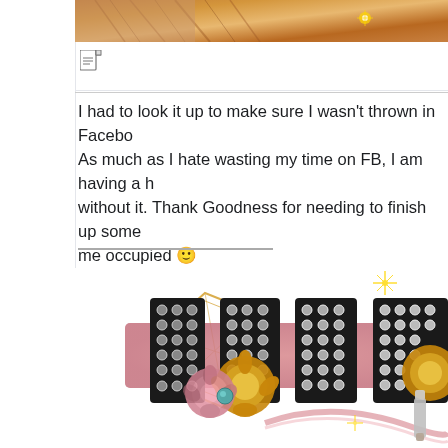[Figure (photo): Partial view of a person with reddish-brown hair, wearing a decorative accessory, cropped at top of page]
[Figure (other): Small document/note icon]
I had to look it up to make sure I wasn't thrown in Facebo... As much as I hate wasting my time on FB, I am having a h... without it. Thank Goodness for needing to finish up some... me occupied 🙂
[Figure (illustration): Decorative image with large black marquee-style letters spelling JENN (partially visible), decorated with rhinestones/studs, gold glitter flowers, pink ribbons, geometric gold line art diamond shape in background]